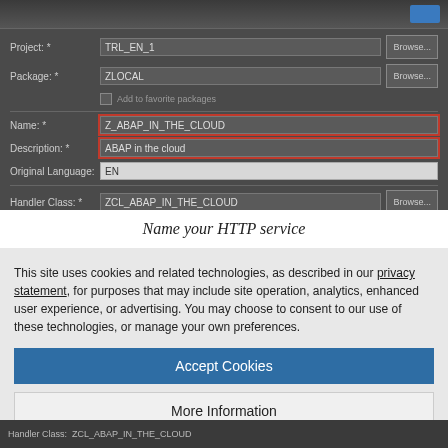[Figure (screenshot): IDE dialog screenshot showing HTTP service creation form with fields: Project (TRL_EN_1), Package (ZLOCAL), Name (Z_ABAP_IN_THE_CLOUD), Description (ABAP in the cloud), Original Language (EN), Handler Class (ZCL_ABAP_IN_THE_CLOUD). Name and Description fields are highlighted with a red border.]
Name your HTTP service
This site uses cookies and related technologies, as described in our privacy statement, for purposes that may include site operation, analytics, enhanced user experience, or advertising. You may choose to consent to our use of these technologies, or manage your own preferences.
Accept Cookies
More Information
Privacy Policy | Powered by: TrustArc
[Figure (screenshot): Bottom portion of IDE showing Handler Class field with value ZCL_ABAP_IN_THE_CLOUD and mouse cursor]